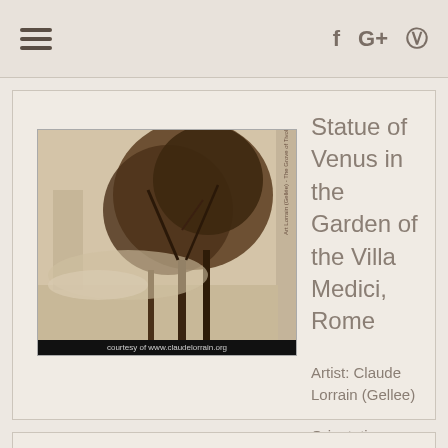Navigation bar with hamburger menu and social icons (f, G+, P)
Statue of Venus in the Garden of the Villa Medici, Rome
Artist: Claude Lorrain (Gellee)
Orientation: Portrait
[Figure (illustration): Sepia-tone drawing of trees and landscape, courtesy of www.claudelorrain.org]
courtesy of www.claudelorrain.org